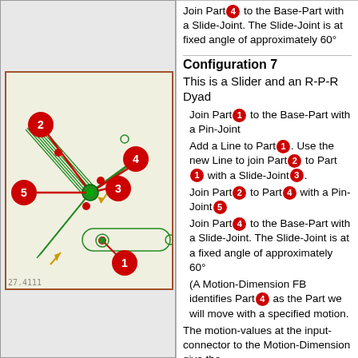Join Part 4 to the Base-Part with a Slide-Joint. The Slide-Joint is at fixed angle of approximately 60°
Configuration 7
This is a Slider and an R-P-R Dyad
[Figure (engineering-diagram): Kinematic linkage diagram showing numbered parts (1-5) connected by green lines and red circles/dots, with yellow arrows indicating motion directions. Parts labeled with red numbered badges on red circles.]
Join Part 1 to the Base-Part with a Pin-Joint
Add a Line to Part 1. Use the new Line to join Part 2 to Part 1 with a Slide-Joint 3.
Join Part 2 to Part 4 with a Pin-Joint 5
Join Part 4 to the Base-Part with a Slide-Joint. The Slide-Joint is at a fixed angle of approximately 60°
(A Motion-Dimension FB identifies Part 4 as the Part we will move with a specified motion.
The motion-values at the input-connector to the Motion-Dimension give the